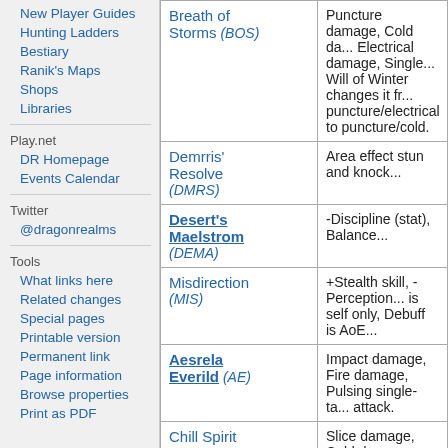New Player Guides
Hunting Ladders
Bestiary
Ranik's Maps
Shops
Libraries
Play.net
DR Homepage
Events Calendar
Twitter
@dragonrealms
Tools
What links here
Related changes
Special pages
Printable version
Permanent link
Page information
Browse properties
Print as PDF
| Spell | Description |
| --- | --- |
| Breath of Storms (BOS) | Puncture damage, Cold da... Electrical damage, Single... Will of Winter changes it fr... puncture/electrical to puncture/cold. |
| Demrris' Resolve (DMRS) | Area effect stun and knock... |
| Desert's Maelstrom (DEMA) | -Discipline (stat), Balance... |
| Misdirection (MIS) | +Stealth skill, -Perception... is self only, Debuff is AoE... |
| Aesrela Everild (AE) | Impact damage, Fire damage, Pulsing single-ta... attack. |
| Chill Spirit | Slice damage, Cold dama... |